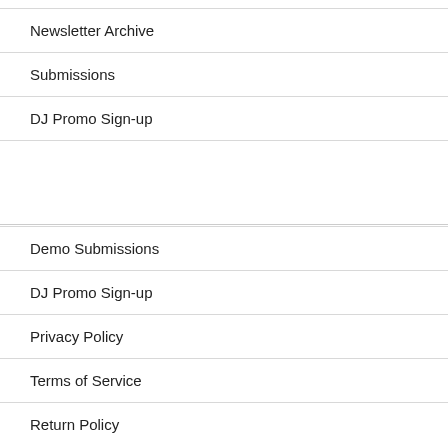Newsletter Archive
Submissions
DJ Promo Sign-up
Demo Submissions
DJ Promo Sign-up
Privacy Policy
Terms of Service
Return Policy